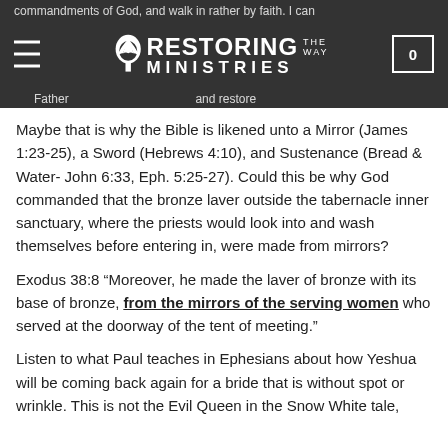Restoring the Way Ministries
Maybe that is why the Bible is likened unto a Mirror (James 1:23-25), a Sword (Hebrews 4:10), and Sustenance (Bread & Water- John 6:33, Eph. 5:25-27). Could this be why God commanded that the bronze laver outside the tabernacle inner sanctuary, where the priests would look into and wash themselves before entering in, were made from mirrors?
Exodus 38:8 “Moreover, he made the laver of bronze with its base of bronze, from the mirrors of the serving women who served at the doorway of the tent of meeting.”
Listen to what Paul teaches in Ephesians about how Yeshua will be coming back again for a bride that is without spot or wrinkle. This is not the Evil Queen in the Snow White tale,